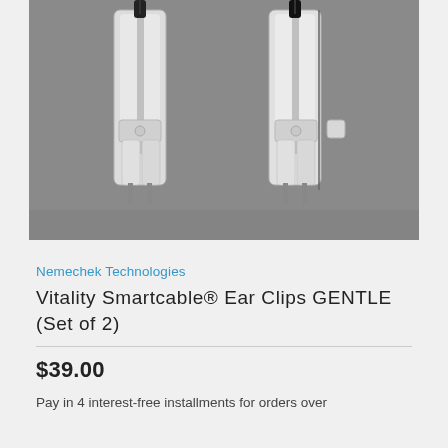[Figure (photo): Close-up photo of two white plastic ear clip electrodes (Vitality Smartcable Gentle ear clips) with metal contact tips, placed on a gray surface. The clips are elongated white plastic devices with small metal prongs at the bottom.]
Nemechek Technologies
Vitality Smartcable® Ear Clips GENTLE (Set of 2)
$39.00
Pay in 4 interest-free installments for orders over